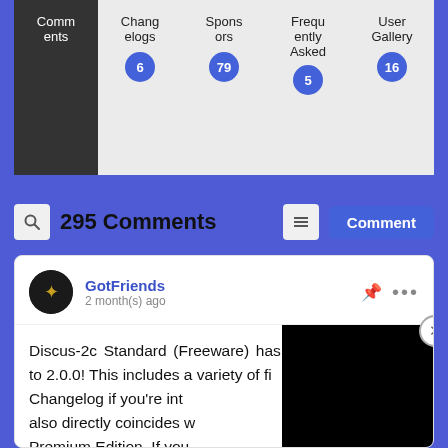[Figure (screenshot): Navigation tab bar with tabs: Comments (active, dark background), Changelogs (badge: 6), Sponsors (badge: 79), Frequently Asked (badge: 5), User Gallery (badge: 16)]
295 Comments
[Figure (screenshot): Comment card by GotFriends, 2 month(s) ago. Comment text: Discus-2c Standard (Freeware) has been fully updated to 2.0.0! This includes a variety of fi... Changelog if you're int... also directly coincides w... Premium Edition. If you...]
GotFriends
2 month(s) ago

Discus-2c Standard (Freeware) has been fully updated to 2.0.0! This includes a variety of fi... Changelog if you're int... also directly coincides w... Premium Edition. If you...